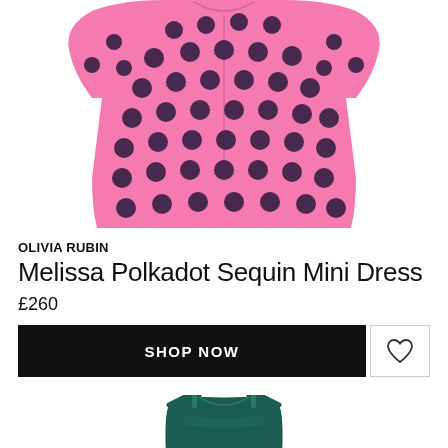[Figure (photo): Pink polkadot sequin mini dress with puff sleeves, shown cropped from collar to hem on white background]
OLIVIA RUBIN
Melissa Polkadot Sequin Mini Dress
£260
SHOP NOW
[Figure (photo): Teal/dark green satin slip camisole top with thin straps, shown cropped at top of page from below]